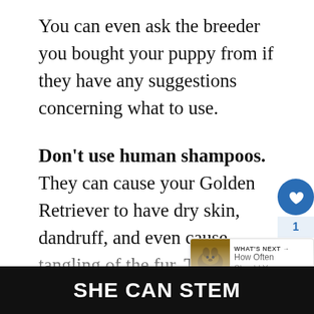You can even ask the breeder you bought your puppy from if they have any suggestions concerning what to use.
Don't use human shampoos. They can cause your Golden Retriever to have dry skin, dandruff, and even cause tangling of the fur. There are many different options for shampoos on Amazon.
When bathing your dog, make sure shampoo doesn't get in their eyes and ears. Start from the neck and keep lathering down thoroughly.
[Figure (screenshot): Social sidebar with heart button, count of 1, and share button]
[Figure (screenshot): What's Next overlay showing a dog thumbnail and text 'How Often Should You...']
[Figure (screenshot): Bottom banner with dark background reading 'SHE CAN STEM']